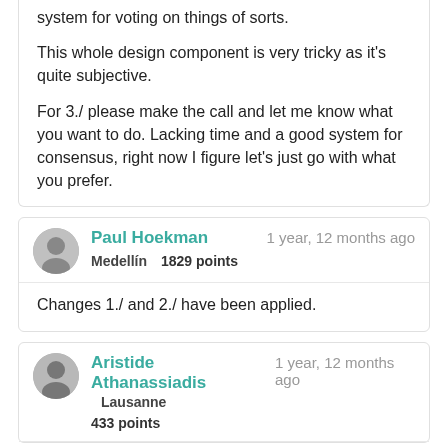system for voting on things of sorts.

This whole design component is very tricky as it's quite subjective.

For 3./ please make the call and let me know what you want to do. Lacking time and a good system for consensus, right now I figure let's just go with what you prefer.
Paul Hoekman | 1 year, 12 months ago | Medellín | 1829 points
Changes 1./ and 2./ have been applied.
Aristide Athanassiadis | 1 year, 12 months ago | Lausanne | 433 points